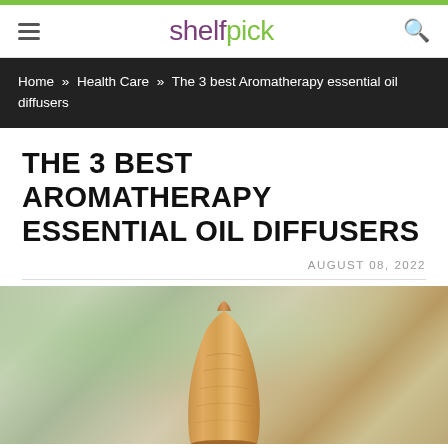shelfpick
Home » Health Care » The 3 best Aromatherapy essential oil diffusers
THE 3 BEST AROMATHERAPY ESSENTIAL OIL DIFFUSERS
AUGUST 08, 2022
[Figure (photo): Photo of a wooden aromatherapy essential oil diffuser with a rounded teardrop shape, set against a blurred green and neutral background]